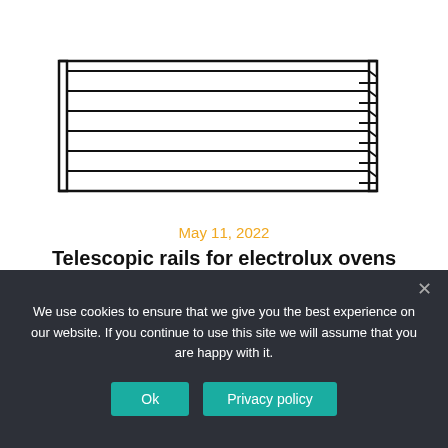[Figure (schematic): Technical drawing of telescopic oven rails seen from the side — multiple horizontal parallel rails with stepped/notched ends on the right side, forming a rack-like structure.]
May 11, 2022
Telescopic rails for electrolux ovens
We use cookies to ensure that we give you the best experience on our website. If you continue to use this site we will assume that you are happy with it.